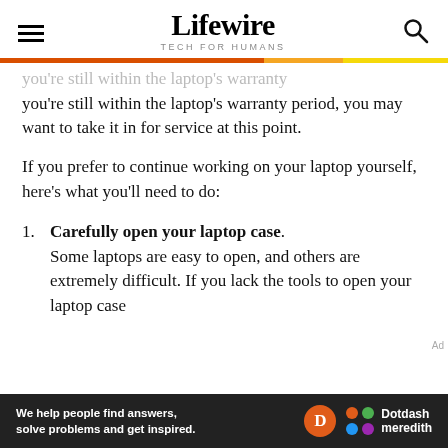Lifewire — TECH FOR HUMANS
you're still within the laptop's warranty period, you may want to take it in for service at this point.
If you prefer to continue working on your laptop yourself, here's what you'll need to do:
1. Carefully open your laptop case. Some laptops are easy to open, and others are extremely difficult. If you lack the tools to open your laptop case